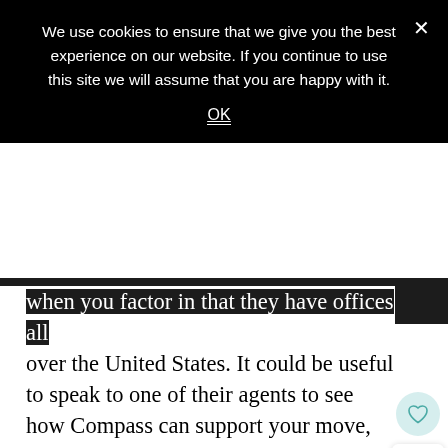We use cookies to ensure that we give you the best experience on our website. If you continue to use this site we will assume that you are happy with it.
OK
when you factor in that they have offices all over the United States. It could be useful to speak to one of their agents to see how Compass can support your move, as well as to gain the answers to any questions that may cause you to be hesitant.
Compass also decided that the more traditic ways of buying and selling homes weren't for them. Instead, you may want to take note that they built a mobile app to make things easier